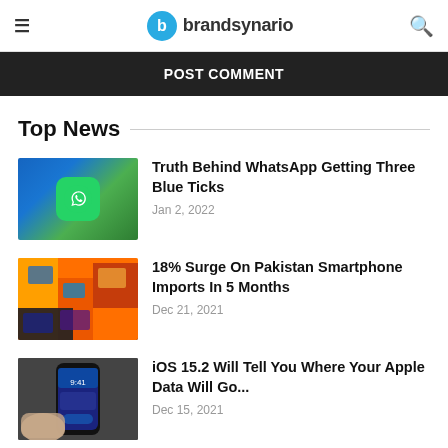brandsynario
POST COMMENT
Top News
[Figure (photo): WhatsApp app icon on a smartphone screen with blue background]
Truth Behind WhatsApp Getting Three Blue Ticks
Jan 2, 2022
[Figure (photo): Multiple smartphones stacked together with colorful screens]
18% Surge On Pakistan Smartphone Imports In 5 Months
Dec 21, 2021
[Figure (photo): Hand holding an iPhone showing the lock screen]
iOS 15.2 Will Tell You Where Your Apple Data Will Go...
Dec 15, 2021